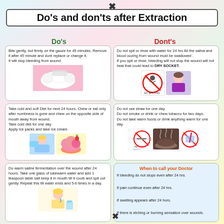Do's and don'ts after Extraction
Do's
Dont's
Bite gently, but firmly on the gauze for 45 minutes. Remove it after 45 minute and dont replace or change it. It will stop bleeding from wound
Do not spit or rinse with water for 24 hrs All the saliva and blood oozing from wound must be swallowed . If you spit or rinse, bleeding will not stop the wound will not heal that could lead to DRY SOCKET.
Take cold and soft Diet for next 24 hours. Chew or eat only after numbness is gone and chew on the opposite side of mouth away from wound. Take cold diet for one day. Apply ice packs and take ice cream.
Do not use straw for one day. Do not smoke or drink or chew tobacco for two days. Do not take warm foods or drink anything warm for one day.
Do warm saline fermentation over the wound after 24 hours. Take one glass of lukewarm water and add 1 teaspoon table salt keep it in mouth till it cools and spit out gently. Repeat this till water ends and 5-6 times in a day.
When to call your Doctor
If bleeding do not stops even after 24 hrs.
If pain continue even after 24 hrs.
If swelling appears after 24 hors.
If there is etching or burning sensation over wounds.